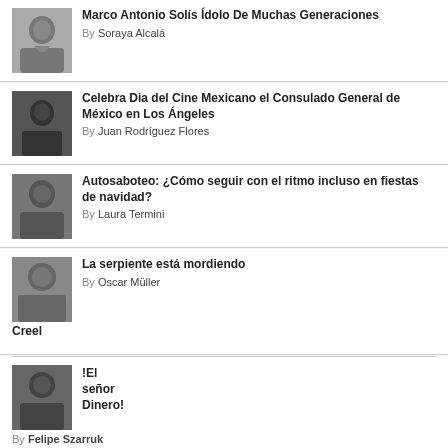Marco Antonio Solís Ídolo De Muchas Generaciones
By Soraya Alcalá
Celebra Dia del Cine Mexicano el Consulado General de México en Los Ángeles
By Juan Rodríguez Flores
Autosaboteo: ¿Cómo seguir con el ritmo incluso en fiestas de navidad?
By Laura Termini
La serpiente está mordiendo
By Oscar Müller Creel
!El señor Dinero!
By Felipe Szarruk